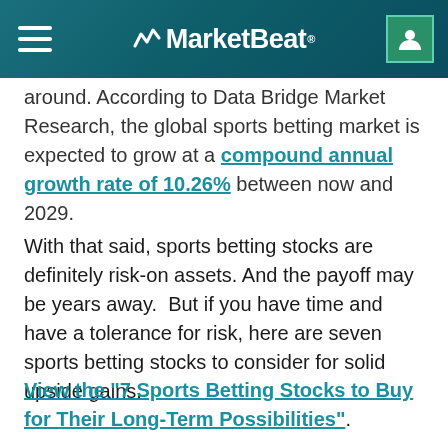MarketBeat
around. According to Data Bridge Market Research, the global sports betting market is expected to grow at a compound annual growth rate of 10.26% between now and 2029.
With that said, sports betting stocks are definitely risk-on assets. And the payoff may be years away.  But if you have time and have a tolerance for risk, here are seven sports betting stocks to consider for solid upside gains.
View the "7 Sports Betting Stocks to Buy for Their Long-Term Possibilities".